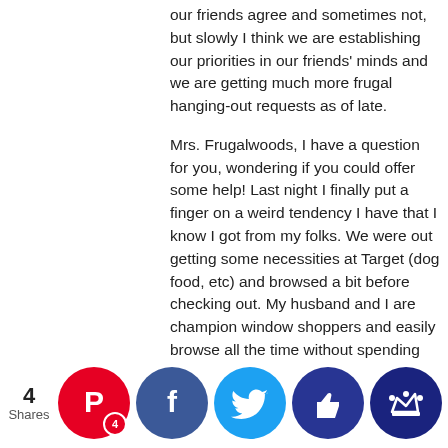our friends agree and sometimes not, but slowly I think we are establishing our priorities in our friends' minds and we are getting much more frugal hanging-out requests as of late.
Mrs. Frugalwoods, I have a question for you, wondering if you could offer some help! Last night I finally put a finger on a weird tendency I have that I know I got from my folks. We were out getting some necessities at Target (dog food, etc) and browsed a bit before checking out. My husband and I are champion window shoppers and easily browse all the time without spending anything, but I noticed that the final two seasons of a TV show he'd introduced me to were on sale. We have the first seasons on DVD and so these would round out the set. Even though we are watching our spending I encouraged my husband to buy the DVDs, and I realized why, I think–by encouraging him, I think I am trying to communicate that his happiness is my priority, that I want him to feel free to have the things he wants, that I approve of his choices. My folks have always done this for each other, and did for us when we were ki–if we li an item a our ow w, they e ed us ase it. 't's a w show
[Figure (infographic): Social sharing bar with 4 Shares count and social media icon buttons: Pinterest (red, badge 4), Facebook (dark blue), Twitter (light blue), Thumbs up (dark navy), Crown (dark navy)]